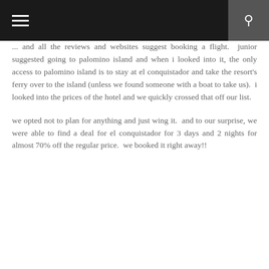navigation bar with menu and search icons
... and all the reviews and websites suggest booking a flight.  junior suggested going to palomino island and when i looked into it, the only access to palomino island is to stay at el conquistador and take the resort's ferry over to the island (unless we found someone with a boat to take us).  i looked into the prices of the hotel and we quickly crossed that off our list.
we opted not to plan for anything and just wing it.  and to our surprise, we were able to find a deal for el conquistador for 3 days and 2 nights for almost 70% off the regular price.  we booked it right away!!